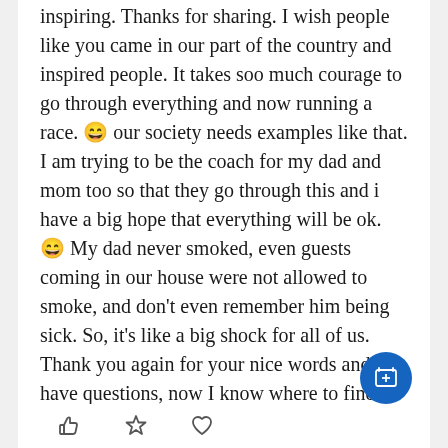inspiring. Thanks for sharing. I wish people like you came in our part of the country and inspired people. It takes soo much courage to go through everything and now running a race. 😄 our society needs examples like that. I am trying to be the coach for my dad and mom too so that they go through this and i have a big hope that everything will be ok. 😄 My dad never smoked, even guests coming in our house were not allowed to smoke, and don't even remember him being sick. So, it's like a big shock for all of us. Thank you again for your nice words and if I have questions, now I know where to find answers.